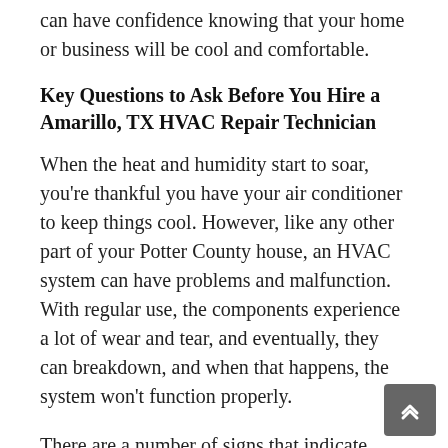can have confidence knowing that your home or business will be cool and comfortable.
Key Questions to Ask Before You Hire a Amarillo, TX HVAC Repair Technician
When the heat and humidity start to soar, you're thankful you have your air conditioner to keep things cool. However, like any other part of your Potter County house, an HVAC system can have problems and malfunction. With regular use, the components experience a lot of wear and tear, and eventually, they can breakdown, and when that happens, the system won't function properly.
There are a number of signs that indicate something is amiss with an HVAC system.